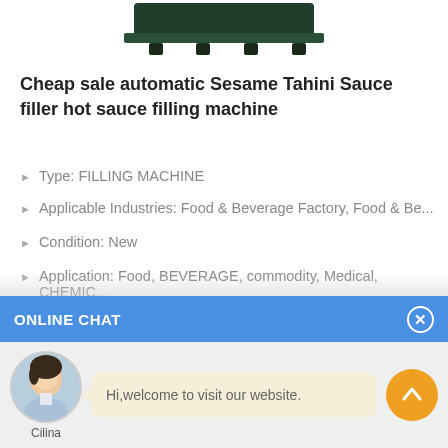[Figure (photo): Top portion of a green filling machine on white background]
Cheap sale automatic Sesame Tahini Sauce filler hot sauce filling machine
Type: FILLING MACHINE
Applicable Industries: Food & Beverage Factory, Food & Be...
Condition: New
Application: Food, BEVERAGE, commodity, Medical, CHEMIC...
Packaging Type: CANS, bottles
Packaging Material: plastic, PAPER, Metal, glass, wood
ONLINE CHAT
[Figure (photo): Chat panel with female agent avatar named Cilina and message: Hi,welcome to visit our website.]